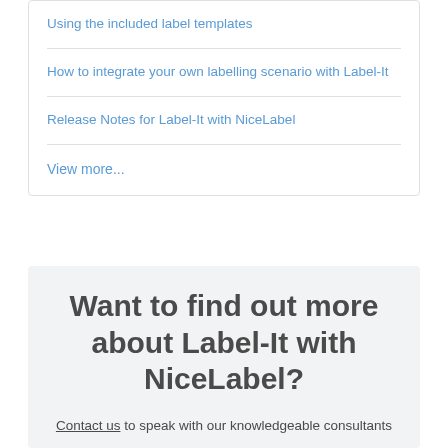Using the included label templates
How to integrate your own labelling scenario with Label-It
Release Notes for Label-It with NiceLabel
View more...
Want to find out more about Label-It with NiceLabel?
Contact us to speak with our knowledgeable consultants